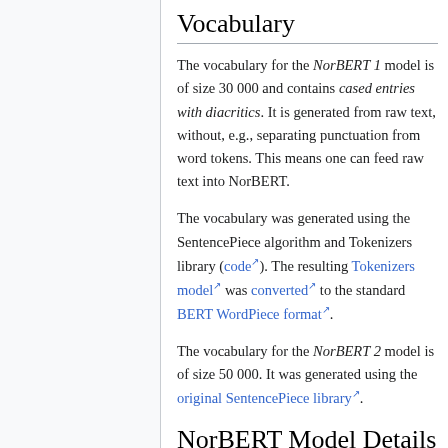Vocabulary
The vocabulary for the NorBERT 1 model is of size 30 000 and contains cased entries with diacritics. It is generated from raw text, without, e.g., separating punctuation from word tokens. This means one can feed raw text into NorBERT.
The vocabulary was generated using the SentencePiece algorithm and Tokenizers library (code). The resulting Tokenizers model was converted to the standard BERT WordPiece format.
The vocabulary for the NorBERT 2 model is of size 50 000. It was generated using the original SentencePiece library.
NorBERT Model Details